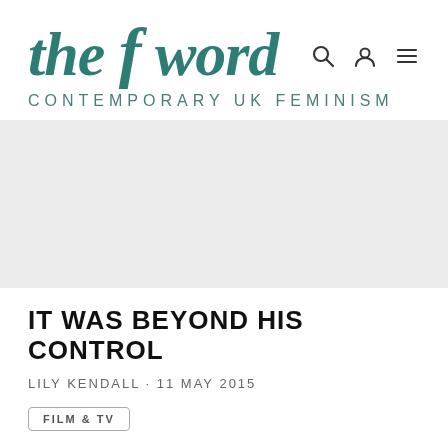the f word — CONTEMPORARY UK FEMINISM
[Figure (other): Gray placeholder hero image area]
IT WAS BEYOND HIS CONTROL
LILY KENDALL · 11 MAY 2015
FILM & TV